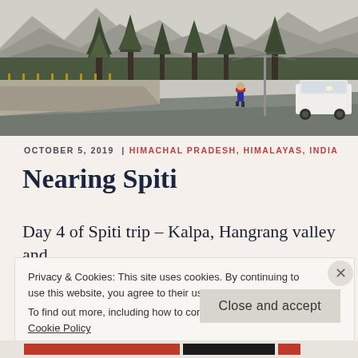[Figure (photo): A mountain road scene in the Himalayas with a person in a red jacket walking across the road, a white SUV on the right, tall pine/deodar trees in the background, and rocky mountain peaks under a hazy sky. A yellow railing bridge visible on the left.]
OCTOBER 5, 2019  |  HIMACHAL PRADESH, HIMALAYAS, INDIA
Nearing Spiti
Day 4 of Spiti trip – Kalpa, Hangrang valley and
Privacy & Cookies: This site uses cookies. By continuing to use this website, you agree to their use.
To find out more, including how to control cookies, see here: Cookie Policy
Close and accept